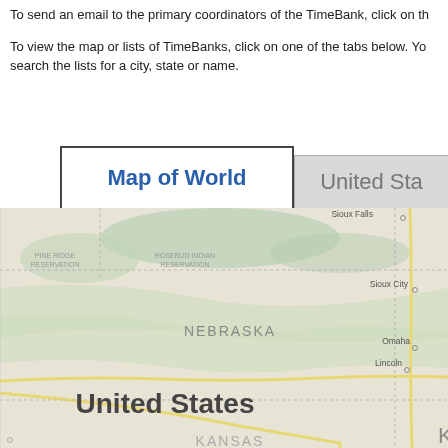To send an email to the primary coordinators of the TimeBank, click on the TimeBank name.
To view the map or lists of TimeBanks, click on one of the tabs below. You can also search the lists for a city, state or name.
[Figure (map): Map showing the central United States including Nebraska, Kansas, and surrounding states/regions. Visible labels include: Pine Ridge Reservation, Rosebud Indian Reservation, Sioux Falls, Sioux City, Omaha, Lincoln, Nebraska, United States, Kansas. Roads shown in yellow, terrain in greens and beige.]
Map of World tab (active), United States tab (partially visible)